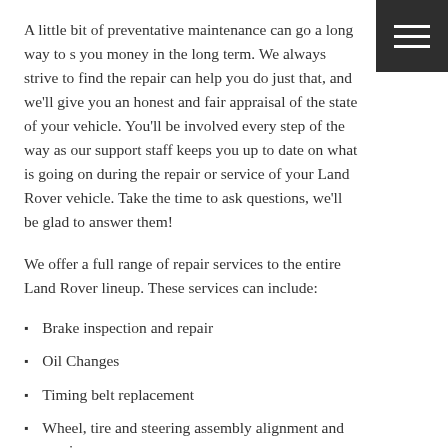A little bit of preventative maintenance can go a long way to saving you money in the long term. We always strive to find the repairs that can help you do just that, and we'll give you an honest and fair appraisal of the state of your vehicle. You'll be involved every step of the way as our support staff keeps you up to date on what is going on during the repair or service of your Land Rover vehicle. Take the time to ask questions, we'll be glad to answer them!
We offer a full range of repair services to the entire Land Rover lineup. These services can include:
Brake inspection and repair
Oil Changes
Timing belt replacement
Wheel, tire and steering assembly alignment and repair
Air filter replacement
We do all of this, and much more. Give us a call to schedule an appointment for your Land Rover today!